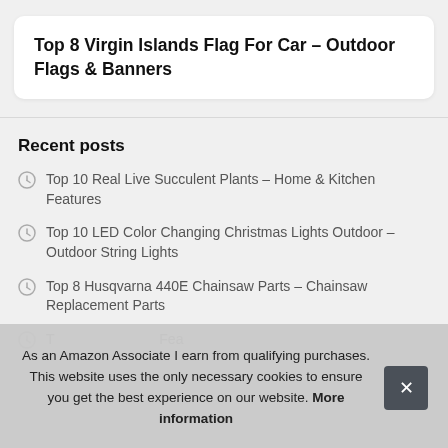Top 8 Virgin Islands Flag For Car – Outdoor Flags & Banners
Recent posts
Top 10 Real Live Succulent Plants – Home & Kitchen Features
Top 10 LED Color Changing Christmas Lights Outdoor – Outdoor String Lights
Top 8 Husqvarna 440E Chainsaw Parts – Chainsaw Replacement Parts
T... Fea...
T...
Top 10 Flamingo Gifts for Women Birthday – Wind Chimes
As an Amazon Associate I earn from qualifying purchases. This website uses the only necessary cookies to ensure you get the best experience on our website. More information